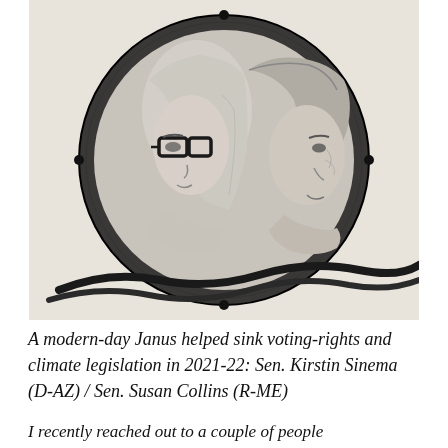[Figure (illustration): A black-and-white pencil or ink illustration showing two women's profiles facing opposite directions (back to back), enclosed in a circular dark netting or chain-like border on a light textured background. The woman on the left wears glasses and has light long hair; the woman on the right faces right with shorter hair.]
A modern-day Janus helped sink voting-rights and climate legislation in 2021-22: Sen. Kirstin Sinema (D-AZ) / Sen. Susan Collins (R-ME)
I recently reached out to a couple of people